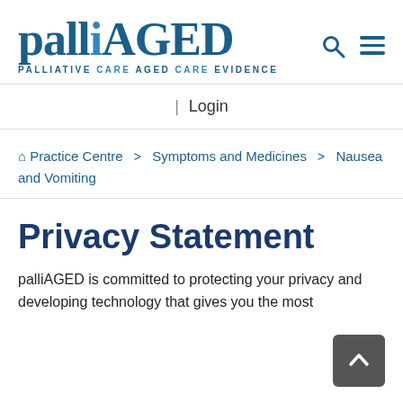[Figure (logo): palliAGED logo with tagline PALLIATIVE CARE AGED CARE EVIDENCE, and navigation icons (search and hamburger menu)]
| Login
🏠 Practice Centre > Symptoms and Medicines > Nausea and Vomiting
Privacy Statement
palliAGED is committed to protecting your privacy and developing technology that gives you the most